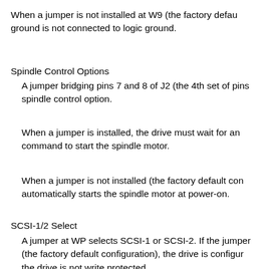When a jumper is not installed at W9 (the factory defau ground is not connected to logic ground.
Spindle Control Options
A jumper bridging pins 7 and 8 of J2 (the 4th set of pins spindle control option.
When a jumper is installed, the drive must wait for an command to start the spindle motor.
When a jumper is not installed (the factory default con automatically starts the spindle motor at power-on.
SCSI-1/2 Select
A jumper at WP selects SCSI-1 or SCSI-2. If the jumper (the factory default configuration), the drive is configur the drive is not write protected.